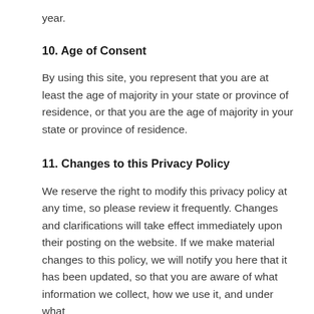year.
10. Age of Consent
By using this site, you represent that you are at least the age of majority in your state or province of residence, or that you are the age of majority in your state or province of residence.
11. Changes to this Privacy Policy
We reserve the right to modify this privacy policy at any time, so please review it frequently. Changes and clarifications will take effect immediately upon their posting on the website. If we make material changes to this policy, we will notify you here that it has been updated, so that you are aware of what information we collect, how we use it, and under what circumstances, if any, we use and/or disclose it.